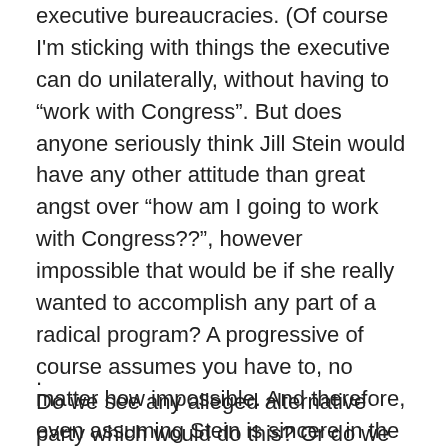executive bureaucracies. (Of course I'm sticking with things the executive can do unilaterally, without having to “work with Congress”. But does anyone seriously think Jill Stein would have any other attitude than great angst over “how am I going to work with Congress??”, however impossible that would be if she really wanted to accomplish any part of a radical program? A progressive of course assumes you have to, no matter how impossible. And therefore, even assuming Stein is sincere in the first place, the caving in and selling out would begin right from the transition period. We saw what happened with the Greens in Germany once their establishment was given a share of power.)
.
Do we see any alleged alternative party which would do this? Or do we see only a party wanting a Democrat do-over, but honest and for true this time? In other words, the